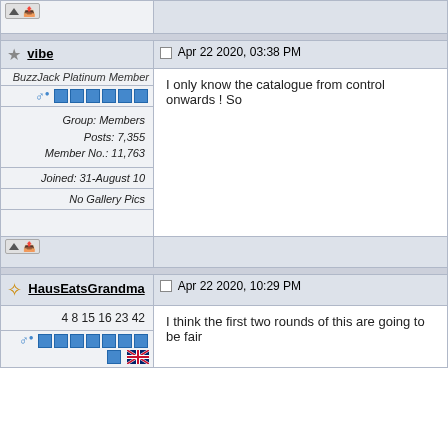[Figure (screenshot): Forum post buttons row (top) with up arrow and UP button]
vibe
Apr 22 2020, 03:38 PM
BuzzJack Platinum Member
Group: Members
Posts: 7,355
Member No.: 11,763
Joined: 31-August 10
No Gallery Pics
I only know the catalogue from control onwards ! So
[Figure (screenshot): Forum post buttons row (middle) with up arrow and UP button]
HausEatsGrandma
Apr 22 2020, 10:29 PM
4 8 15 16 23 42
I think the first two rounds of this are going to be fair